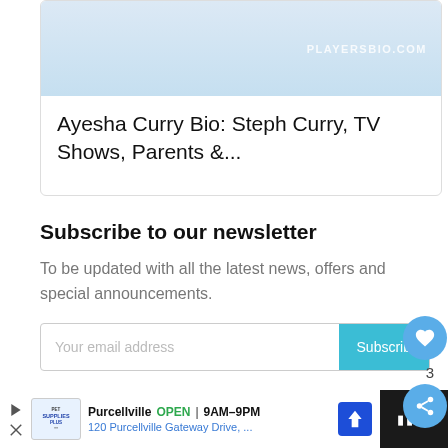[Figure (screenshot): Card with light blue image area showing PLAYERSBIO.COM watermark]
Ayesha Curry Bio: Steph Curry, TV Shows, Parents &...
Subscribe to our newsletter
To be updated with all the latest news, offers and special announcements.
Your email address
Purcellville OPEN 9AM–9PM 120 Purcellville Gateway Drive, ...